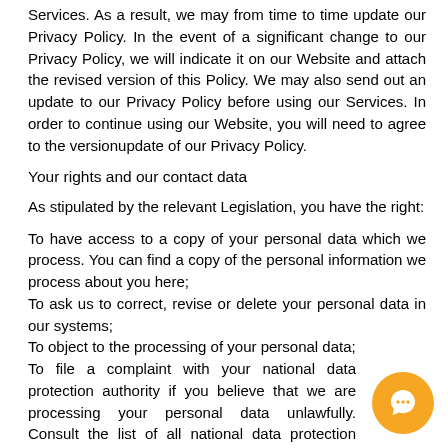Services. As a result, we may from time to time update our Privacy Policy. In the event of a significant change to our Privacy Policy, we will indicate it on our Website and attach the revised version of this Policy. We may also send out an update to our Privacy Policy before using our Services. In order to continue using our Website, you will need to agree to the versionupdate of our Privacy Policy.
Your rights and our contact data
As stipulated by the relevant Legislation, you have the right:
To have access to a copy of your personal data which we process. You can find a copy of the personal information we process about you here;
To ask us to correct, revise or delete your personal data in our systems;
To object to the processing of your personal data;
To file a complaint with your national data protection authority if you believe that we are processing your personal data unlawfully. Consult the list of all national data protection authorities in the European Union here.